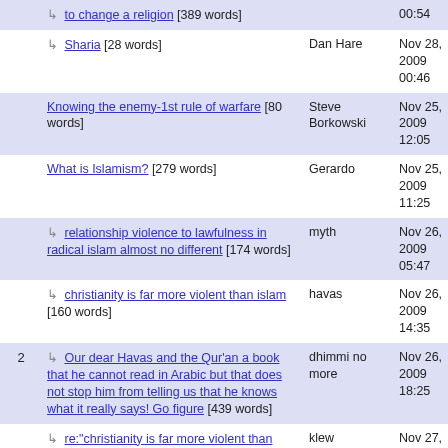| # | Title | Author | Date |
| --- | --- | --- | --- |
|  | ↳ to change a religion [389 words] |  | 00:54 |
|  | ↳ Sharia [28 words] | Dan Hare | Nov 28, 2009 00:46 |
|  | Knowing the enemy-1st rule of warfare [80 words] | Steve Borkowski | Nov 25, 2009 12:05 |
|  | What is Islamism? [279 words] | Gerardo | Nov 25, 2009 11:25 |
|  | ↳ relationship violence to lawfulness in radical islam almost no different [174 words] | myth | Nov 26, 2009 05:47 |
|  | ↳ christianity is far more violent than islam [160 words] | havas | Nov 26, 2009 14:35 |
| 2 | ↳ Our dear Havas and the Qur'an a book that he cannot read in Arabic but that does not stop him from telling us that he knows what it really says! Go figure [439 words] | dhimmi no more | Nov 26, 2009 18:25 |
|  | ↳ re:"christianity is far more violent than islam." Ok no problem with your claim. [449 words] | klew | Nov 27, 2009 01:20 |